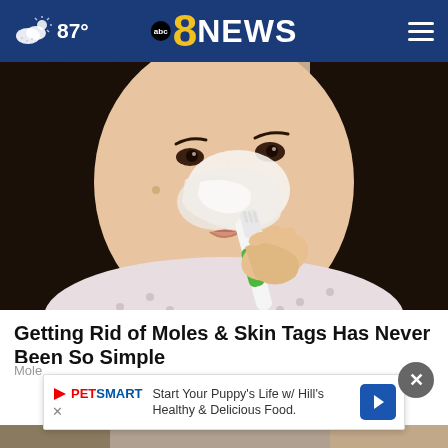abc 8 NEWS — 87°
[Figure (photo): A young woman applying white cream to her nose with a toothbrush, looking at the camera. She is wearing a light floral/dotted blouse.]
Getting Rid of Moles & Skin Tags Has Never Been So Simple
Mole
[Figure (screenshot): PetSmart advertisement banner: 'Start Your Puppy's Life w/ Hill's Healthy & Delicious Food.' with a blue arrow icon and a cancel X button.]
[Figure (photo): Bottom strip of a second article thumbnail image, partially visible.]